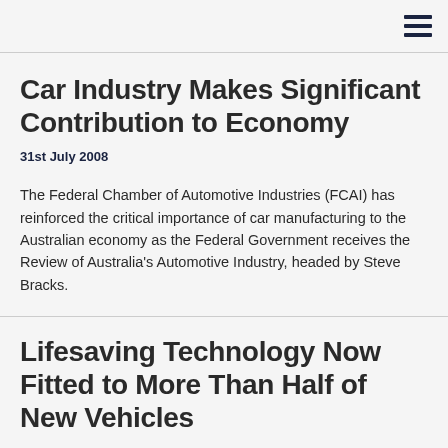Car Industry Makes Significant Contribution to Economy
31st July 2008
The Federal Chamber of Automotive Industries (FCAI) has reinforced the critical importance of car manufacturing to the Australian economy as the Federal Government receives the Review of Australia's Automotive Industry, headed by Steve Bracks.
Lifesaving Technology Now Fitted to More Than Half of New Vehicles